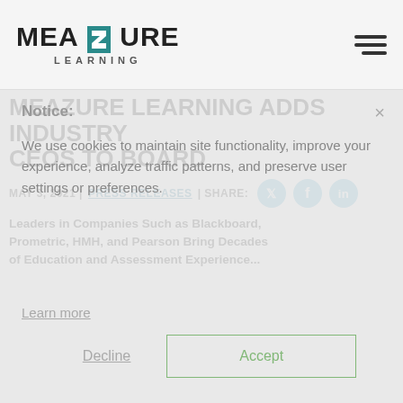MEAZURE LEARNING
MEAZURE LEARNING ADDS INDUSTRY CEOS TO BOARD
MAY 3, 2021 | PRESS RELEASES | SHARE:
Notice: We use cookies to maintain site functionality, improve your experience, analyze traffic patterns, and preserve user settings or preferences.
Learn more
Decline    Accept
Leaders in Companies Such as Blackboard, Prometric, HMH, and Pearson Bring Decades of Education and Assessment Experience...